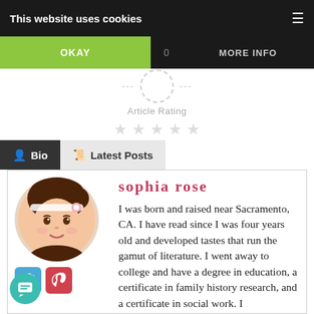This website uses cookies
OKAY   0   MORE INFO
[Figure (infographic): Article Rating widget with dashed circle and 5 empty star icons]
Article Rating
Bio   Latest Posts
[Figure (illustration): Cartoon avatar of sophia rose — girl with brown hair and headband]
sophia rose
I was born and raised near Sacramento, CA. I have read since I was four years old and developed tastes that run the gamut of literature. I went away to college and have a degree in education, a certificate in family history research, and a certificate in social work. I